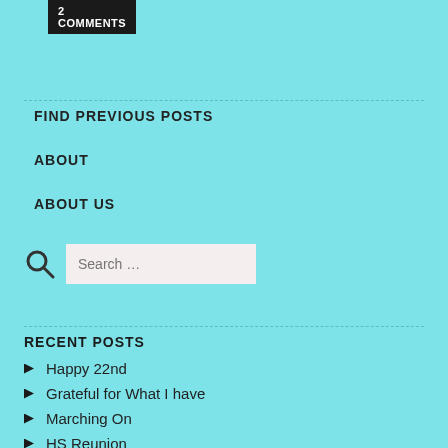2 COMMENTS
FIND PREVIOUS POSTS
ABOUT
ABOUT US
Search ...
RECENT POSTS
Happy 22nd
Grateful for What I have
Marching On
HS Reunion
Paying For It…